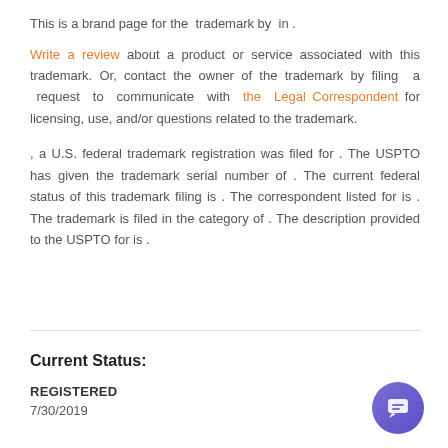This is a brand page for the  trademark by  in .
Write a review about a product or service associated with this trademark. Or, contact the owner of the trademark by filing a request to communicate with the Legal Correspondent for licensing, use, and/or questions related to the trademark.
, a U.S. federal trademark registration was filed for . The USPTO has given the trademark serial number of . The current federal status of this trademark filing is . The correspondent listed for is . The trademark is filed in the category of . The description provided to the USPTO for is .
Current Status:
REGISTERED
7/30/2019